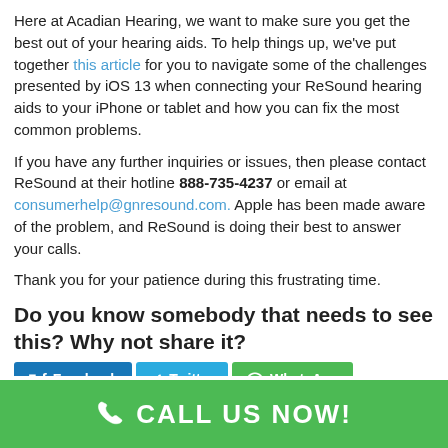Here at Acadian Hearing, we want to make sure you get the best out of your hearing aids. To help things up, we've put together this article for you to navigate some of the challenges presented by iOS 13 when connecting your ReSound hearing aids to your iPhone or tablet and how you can fix the most common problems.
If you have any further inquiries or issues, then please contact ReSound at their hotline 888-735-4237 or email at consumerhelp@gnresound.com. Apple has been made aware of the problem, and ReSound is doing their best to answer your calls.
Thank you for your patience during this frustrating time.
Do you know somebody that needs to see this? Why not share it?
[Figure (other): Social share buttons: Facebook, Twitter, WhatsApp]
CALL US NOW!